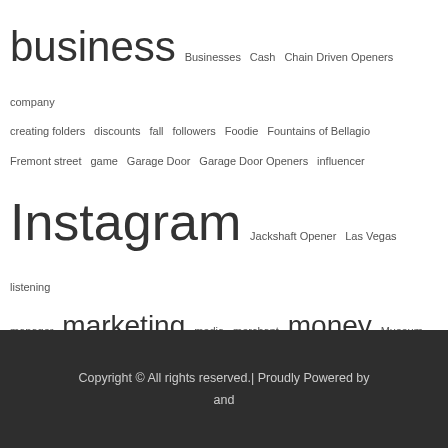business Businesses Cash Chain Driven Openers company creating folders discounts fall followers Foodie Fountains of Bellagio Fremont street game Garage Door Garage Door Openers influencer Instagram Jackshaft Opener Las Vegas listening manager marketing media merchant money Museum Online password Photographer Playing products Protect Red Rock Canyon seller Slots Spending Surcharge Programs terms and conditions Twitch unknown users
Copyright © All rights reserved.| Proudly Powered by and